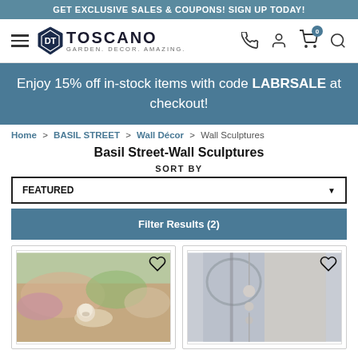GET EXCLUSIVE SALES & COUPONS! SIGN UP TODAY!
[Figure (logo): Design Toscano logo with diamond shield icon, tagline GARDEN. DECOR. AMAZING.]
Enjoy 15% off in-stock items with code LABRSALE at checkout!
Home > BASIL STREET > Wall Décor > Wall Sculptures
Basil Street-Wall Sculptures
SORT BY
FEATURED
Filter Results (2)
[Figure (photo): Product image of a wall sculpture featuring floral arrangement with a skull]
[Figure (photo): Product image of a wall sculpture featuring hanging crystals in a room setting]